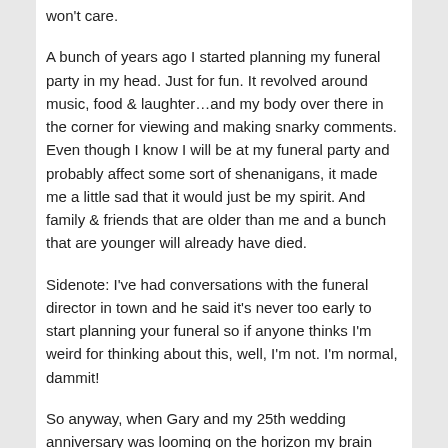won't care.
A bunch of years ago I started planning my funeral party in my head. Just for fun. It revolved around music, food & laughter…and my body over there in the corner for viewing and making snarky comments. Even though I know I will be at my funeral party and probably affect some sort of shenanigans, it made me a little sad that it would just be my spirit. And family & friends that are older than me and a bunch that are younger will already have died.
Sidenote: I've had conversations with the funeral director in town and he said it's never too early to start planning your funeral so if anyone thinks I'm weird for thinking about this, well, I'm not. I'm normal, dammit!
So anyway, when Gary and my 25th wedding anniversary was looming on the horizon my brain also became aware that I would be turning 50 that year (Yay for the Golden Year; break out the bottle of Goldschlager!). If these aren't